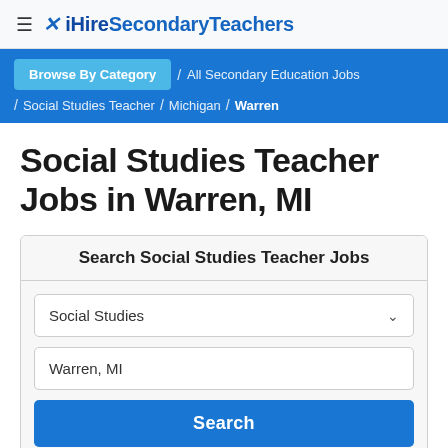≡ iHireSecondaryTeachers
Browse By Category / All Secondary Education Jobs / Social Studies Teacher / Michigan / Warren
Social Studies Teacher Jobs in Warren, MI
Search Social Studies Teacher Jobs
Social Studies
Warren, MI
Search